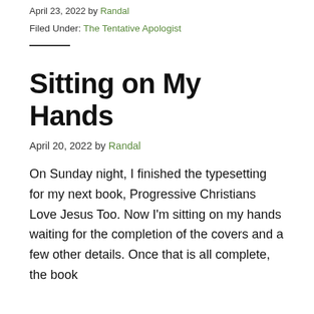April 23, 2022 by Randal
Filed Under: The Tentative Apologist
Sitting on My Hands
April 20, 2022 by Randal
On Sunday night, I finished the typesetting for my next book, Progressive Christians Love Jesus Too. Now I'm sitting on my hands waiting for the completion of the covers and a few other details. Once that is all complete, the book